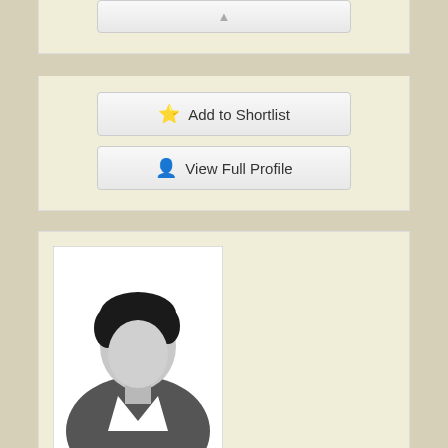[Figure (screenshot): Partial view of a button at the top of a matrimonial profile card]
⭐ Add to Shortlist
👤 View Full Profile
[Figure (photo): Default male silhouette placeholder profile photo]
VHS9914 - (Groom)
Age, Height
25 Yrs,   5ft 8in - 172cm
Religion, Caste